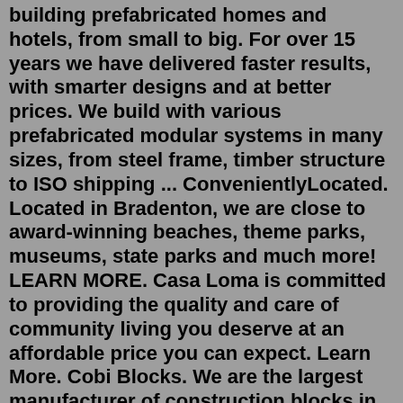building prefabricated homes and hotels, from small to big. For over 15 years we have delivered faster results, with smarter designs and at better prices. We build with various prefabricated modular systems in many sizes, from steel frame, timber structure to ISO shipping ... ConvenientlyLocated. Located in Bradenton, we are close to award-winning beaches, theme parks, museums, state parks and much more! LEARN MORE. Casa Loma is committed to providing the quality and care of community living you deserve at an affordable price you can expect. Learn More. Cobi Blocks. We are the largest manufacturer of construction blocks in Central and Eastern Europe with sales offices in several countries. Our international sales network covers more than 60 countries around the world. Cobi blocks are entirely made in Poland based on European resources. Each production stage follows strict quality standards ...The modular system used to build MU50 was designed to allow a wide range of building uses, reduce environmental impact and maximize site